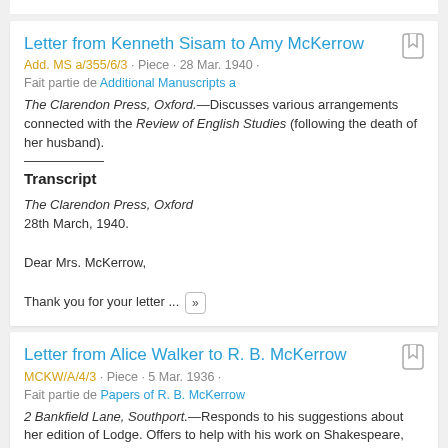Letter from Kenneth Sisam to Amy McKerrow
Add. MS a/355/6/3 · Piece · 28 Mar. 1940 · Fait partie de Additional Manuscripts a
The Clarendon Press, Oxford.—Discusses various arrangements connected with the Review of English Studies (following the death of her husband).
Transcript
The Clarendon Press, Oxford
28th March, 1940.

Dear Mrs. McKerrow,

Thank you for your letter ...
Letter from Alice Walker to R. B. McKerrow
MCKW/A/4/3 · Piece · 5 Mar. 1936 · Fait partie de Papers of R. B. McKerrow
2 Bankfield Lane, Southport.—Responds to his suggestions about her edition of Lodge. Offers to help with his work on Shakespeare, and reiterates her view of the importance of